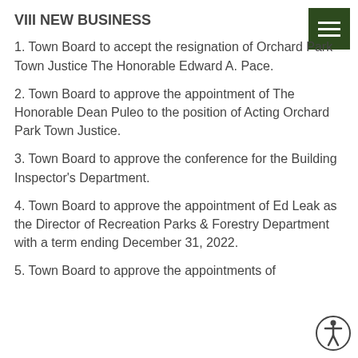VIII NEW BUSINESS
1. Town Board to accept the resignation of Orchard Park Town Justice The Honorable Edward A. Pace.
2. Town Board to approve the appointment of The Honorable Dean Puleo to the position of Acting Orchard Park Town Justice.
3. Town Board to approve the conference for the Building Inspector's Department.
4. Town Board to approve the appointment of Ed Leak as the Director of Recreation Parks & Forestry Department with a term ending December 31, 2022.
5. Town Board to approve the appointments of